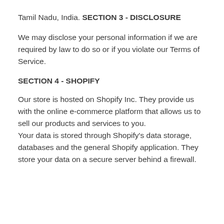Tamil Nadu, India.
SECTION 3 - DISCLOSURE
We may disclose your personal information if we are required by law to do so or if you violate our Terms of Service.
SECTION 4 - SHOPIFY
Our store is hosted on Shopify Inc. They provide us with the online e-commerce platform that allows us to sell our products and services to you. Your data is stored through Shopify's data storage, databases and the general Shopify application. They store your data on a secure server behind a firewall.